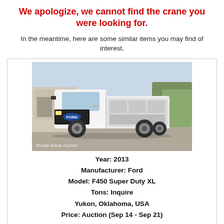We apologize, we cannot find the crane you were looking for.
In the meantime, here are some similar items you may find of interest.
[Figure (photo): White Ford F450 Super Duty XL utility truck photographed outdoors on gravel. Watermark reads 'Purple Wave Auction'.]
Year: 2013
Manufacturer: Ford
Model: F450 Super Duty XL
Tons: Inquire
Yukon, Oklahoma, USA
Price: Auction (Sep 14 - Sep 21)
[Figure (photo): Partial view of a dark-colored vehicle photographed outdoors, partially visible at the bottom of the page.]